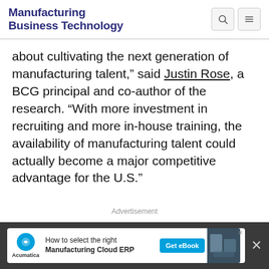Manufacturing Business Technology
about cultivating the next generation of manufacturing talent,” said Justin Rose, a BCG principal and co-author of the research. “With more investment in recruiting and more in-house training, the availability of manufacturing talent could actually become a major competitive advantage for the U.S.”
Advertisement
[Figure (other): Acumatica banner ad: How to select the right Manufacturing Cloud ERP, Get eBook button]